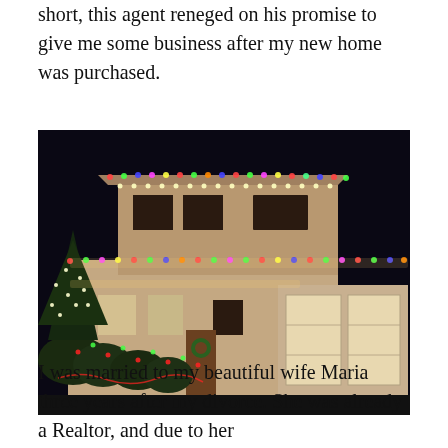short, this agent reneged on his promise to give me some business after my new home was purchased.
[Figure (photo): A two-story residential house decorated with colorful Christmas lights along the roofline, eaves, bushes, and trees, photographed at night. The house has beige/tan siding, multiple windows, and a two-car garage.]
I was married to my beautiful wife Maria three years after my divorce. She was already a Realtor, and due to her